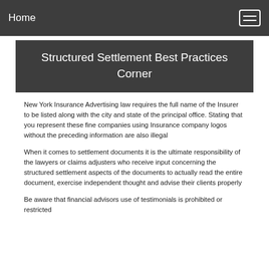Home
Structured Settlement Best Practices Corner
New York Insurance Advertising law requires the full name of the Insurer to be listed along with the city and state of the principal office. Stating that you represent these fine companies using Insurance company logos without the preceding information are also illegal
When it comes to settlement documents it is the ultimate responsibility of the lawyers or claims adjusters who receive input concerning the structured settlement aspects of the documents to actually read the entire document, exercise independent thought and advise their clients properly
Be aware that financial advisors use of testimonials is prohibited or restricted